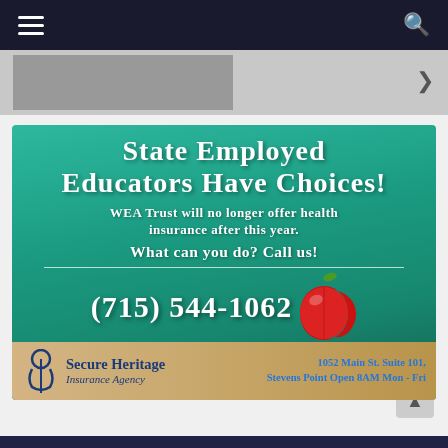Navigation bar with menu and search icons
[Figure (photo): Partial image strip showing people, partially visible at top of page]
[Figure (infographic): Insurance advertisement on teal/green background. Text reads: STATE EMPLOYED EDUCATORS HAVE CHOICES! WEA Trust will no longer offer health insurance after this year. WHAT CAN YOU DO? CALL US! (715) 544-1062. Footer: Secure Heritage Insurance Agency, 1052 Main St. Suite 101, Stevens Point Open 8AM Mon - Fri. Red apple graphic visible.]